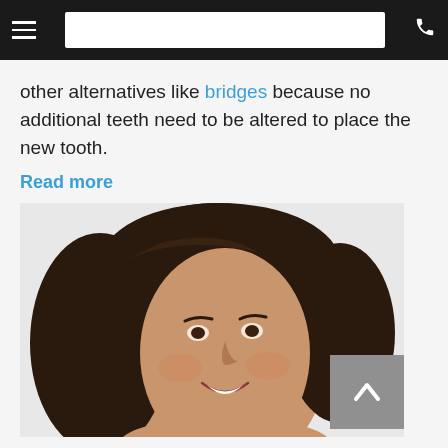Navigation bar with hamburger menu, search box, and phone icon
other alternatives like bridges because no additional teeth need to be altered to place the new tooth.
Read more
[Figure (photo): Smiling young woman with dark hair, showing bright white teeth, against a white/light background]
netic Dentistry